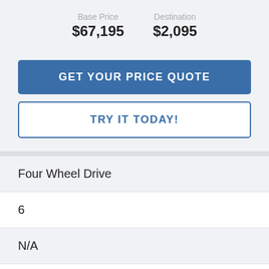Base Price $67,195  Destination $2,095
GET YOUR PRICE QUOTE
TRY IT TODAY!
| Four Wheel Drive |
| 6 |
| N/A |
| N/A |